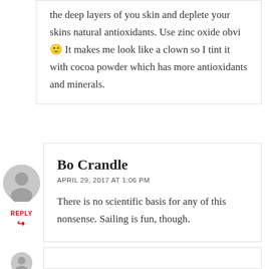the deep layers of you skin and deplete your skins natural antioxidants. Use zinc oxide obvi 🙂 It makes me look like a clown so I tint it with cocoa powder which has more antioxidants and minerals.
Bo Crandle
APRIL 29, 2017 AT 1:06 PM
There is no scientific basis for any of this nonsense. Sailing is fun, though.